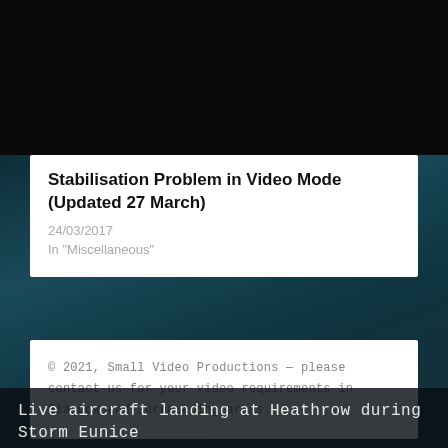Stabilisation Problem in Video Mode (Updated 27 March)
24/03/2017
In "Miscellaneous"
© 2021, Small Video Productions — please contact us for your video requirements in Glasgow and surrounding areas.
Live aircraft landing at Heathrow during Storm Eunice